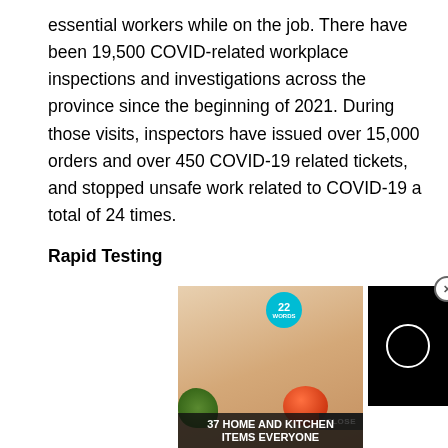essential workers while on the job. There have been 19,500 COVID-related workplace inspections and investigations across the province since the beginning of 2021. During those visits, inspectors have issued over 15,000 orders and over 450 COVID-19 related tickets, and stopped unsafe work related to COVID-19 a total of 24 times.
Rapid Testing
[Figure (photo): Advertisement overlay showing a person using a kitchen tool/juicer with a tomato, with text '37 HOME AND KITCHEN ITEMS EVERYONE' and a '22 Words' logo badge. A video player overlay appears on the right side with a dark background and white circle (loading indicator). A CLOSE button is visible at the bottom right of the ad.]